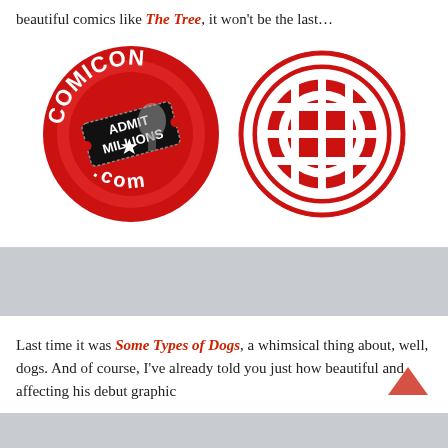beautiful comics like The Tree, it won't be the last…
[Figure (logo): Two circular logos side by side: left is the Comicon.com logo (red circle with white text 'COMICON' around the top, 'com' at the bottom, and a black 'ADMIT MILLIONS' ticket in the center); right is a red circle with a white globe/grid icon.]
Last time it was Some Types of Dogs, a whimsical thing about, well, dogs. And of course, I've already told you just how beautiful and affecting his debut graphic